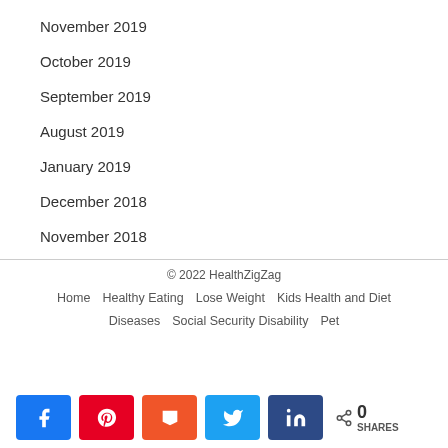November 2019
October 2019
September 2019
August 2019
January 2019
December 2018
November 2018
© 2022 HealthZigZag
Home  Healthy Eating  Lose Weight  Kids Health and Diet  Diseases  Social Security Disability  Pet